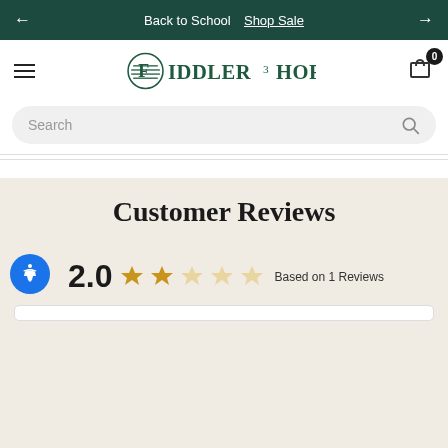← Back to School  Shop Sale  →
[Figure (logo): Fiddlershop logo — circular emblem with horizontal lines and stylized 'F', green serif wordmark FIDDLERSHOP]
Search
Customer Reviews
2.0  ★★☆☆☆  Based on 1 Reviews